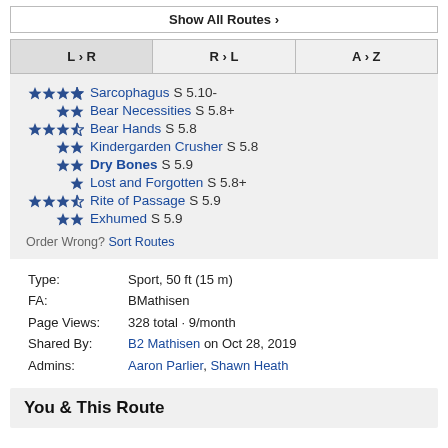Show All Routes →
| L › R | R › L | A › Z |
| --- | --- | --- |
★★★½ Sarcophagus S 5.10-
★★ Bear Necessities S 5.8+
★★★½ Bear Hands S 5.8
★★ Kindergarden Crusher S 5.8
★★ Dry Bones S 5.9
★ Lost and Forgotten S 5.8+
★★★½ Rite of Passage S 5.9
★★ Exhumed S 5.9
Order Wrong? Sort Routes
Type: Sport, 50 ft (15 m)
FA: BMathisen
Page Views: 328 total · 9/month
Shared By: B2 Mathisen on Oct 28, 2019
Admins: Aaron Parlier, Shawn Heath
You & This Route